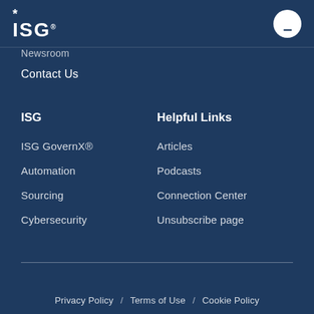ISG (logo with asterisk and menu button)
Newsroom
Contact Us
ISG
Helpful Links
ISG GovernX®
Articles
Automation
Podcasts
Sourcing
Connection Center
Cybersecurity
Unsubscribe page
Privacy Policy  /  Terms of Use  /  Cookie Policy